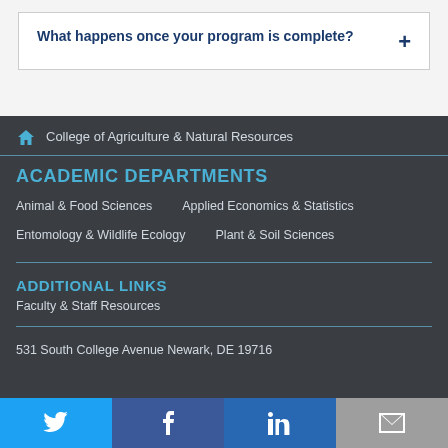What happens once your program is complete?
College of Agriculture & Natural Resources
ACADEMIC DEPARTMENTS
Animal & Food Sciences
Applied Economics & Statistics
Entomology & Wildlife Ecology
Plant & Soil Sciences
ADDITIONAL LINKS
Faculty & Staff Resources
531 South College Avenue Newark, DE 19716
Twitter | Facebook | LinkedIn | Email